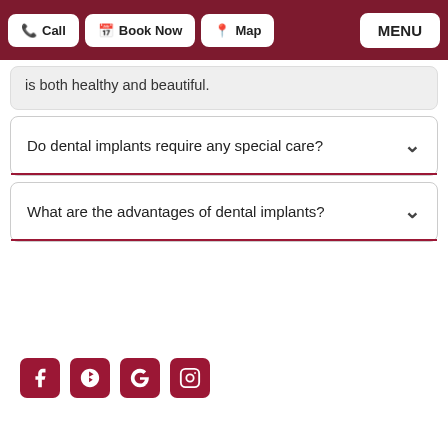Call | Book Now | Map | MENU
is both healthy and beautiful.
Do dental implants require any special care?
What are the advantages of dental implants?
[Figure (other): Social media icons: Facebook, Yelp, Google, Instagram on dark red square backgrounds]